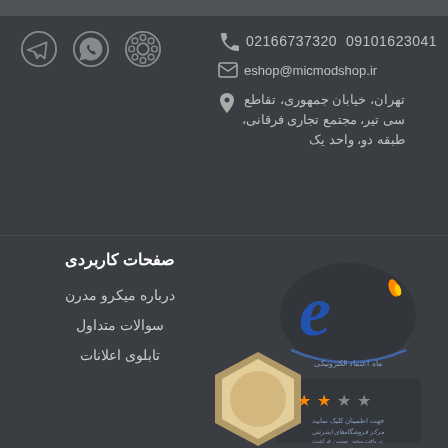[Figure (other): Social media icons: film reel, WhatsApp, Telegram]
02166737320  09101623041
eshop@micmodshop.ir
تهران، خیابان جمهوری، تقاطع سی تیر، مجتمع تجاری فرقانی، طبقه دو، واحد یک
صفحات کاربردی
درباره میکرو مدرن
سوالات متداول
تابلوی اعلانات
[Figure (logo): eMicmod electronic shop logo badge]
[Figure (logo): Trust/certification badge with stars]
[Figure (logo): Hexagonal award/certification badge at bottom]